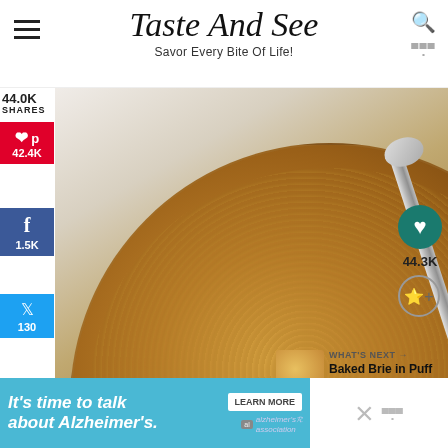Taste And See — Savor Every Bite Of Life!
[Figure (photo): Overhead view of a glass bowl filled with golden-brown graham cracker crumbs with a spoon, and a small bowl of melted butter on a white marble surface]
44.0K
SHARES
[Figure (infographic): Pinterest share button showing 42.4K shares]
[Figure (infographic): Facebook share button showing 1.5K shares]
[Figure (infographic): Twitter share button showing 130 shares]
[Figure (infographic): Flipboard share button]
44.3K
WHAT'S NEXT → Baked Brie in Puff Pastry...
It's time to talk about Alzheimer's.
LEARN MORE